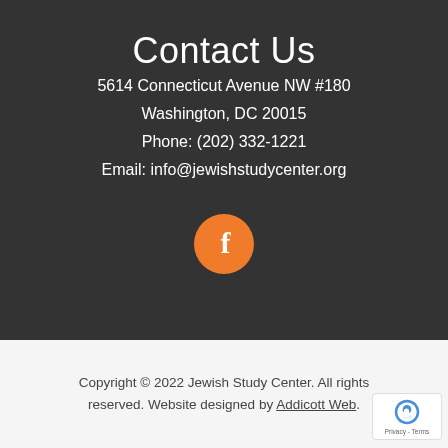Contact Us
5614 Connecticut Avenue NW #180
Washington, DC 20015
Phone: (202) 332-1221
Email: info@jewishstudycenter.org
[Figure (logo): Orange circular Facebook icon with white f letter]
Copyright © 2022 Jewish Study Center. All rights reserved. Website designed by Addicott Web.